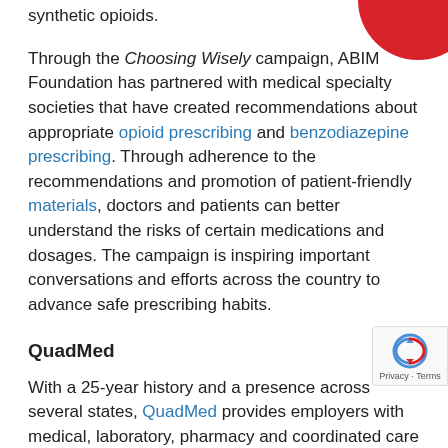synthetic opioids.
Through the Choosing Wisely campaign, ABIM Foundation has partnered with medical specialty societies that have created recommendations about appropriate opioid prescribing and benzodiazepine prescribing. Through adherence to the recommendations and promotion of patient-friendly materials, doctors and patients can better understand the risks of certain medications and dosages. The campaign is inspiring important conversations and efforts across the country to advance safe prescribing habits.
QuadMed
With a 25-year history and a presence across several states, QuadMed provides employers with medical, laboratory, pharmacy and coordinated care services through relationships with hospitals and doctors.
Chief Medical Officer Mary Ellen Benzik, MD, said that the